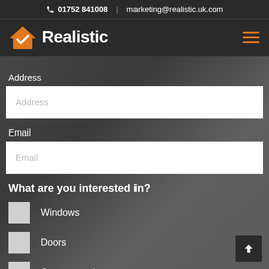📞 01752 841008  |  marketing@realistic.uk.com
[Figure (logo): Realistic company logo with orange house/checkmark icon and white bold text 'Realistic' on dark background]
Address
Address (input field placeholder)
Email
Email (input field placeholder)
What are you interested in?
Windows
Doors
Conservatories